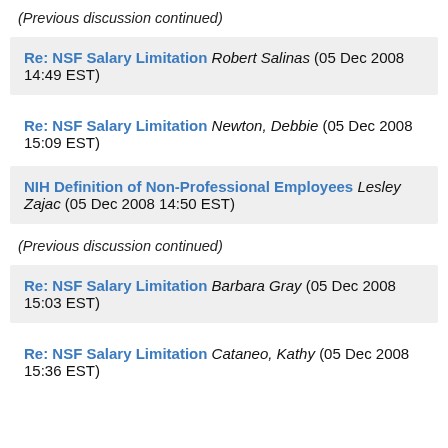(Previous discussion continued)
Re: NSF Salary Limitation Robert Salinas (05 Dec 2008 14:49 EST)
Re: NSF Salary Limitation Newton, Debbie (05 Dec 2008 15:09 EST)
NIH Definition of Non-Professional Employees Lesley Zajac (05 Dec 2008 14:50 EST)
(Previous discussion continued)
Re: NSF Salary Limitation Barbara Gray (05 Dec 2008 15:03 EST)
Re: NSF Salary Limitation Cataneo, Kathy (05 Dec 2008 15:36 EST)